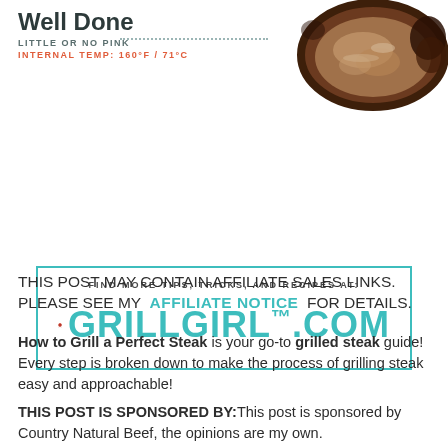Well Done
LITTLE OR NO PINK
INTERNAL TEMP: 160°F / 71°C
[Figure (photo): Cross-section of a well-done grilled steak showing brown/grey interior with no pink]
[Figure (infographic): Promotional box with teal border showing: FIND MORE TIPS, TRICKS, AND RECIPES AT: with GrillGirl logo icon and GRILLGIRL.COM in teal text]
THIS POST MAY CONTAIN AFFILIATE SALES LINKS. PLEASE SEE MY AFFILIATE NOTICE FOR DETAILS.
How to Grill a Perfect Steak is your go-to grilled steak guide! Every step is broken down to make the process of grilling steak easy and approachable!
THIS POST IS SPONSORED BY: This post is sponsored by Country Natural Beef, the opinions are my own.